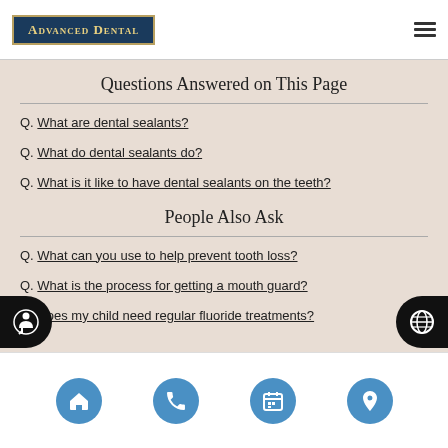Advanced Dental
Questions Answered on This Page
Q. What are dental sealants?
Q. What do dental sealants do?
Q. What is it like to have dental sealants on the teeth?
People Also Ask
Q. What can you use to help prevent tooth loss?
Q. What is the process for getting a mouth guard?
Q. Does my child need regular fluoride treatments?
Navigation icons: home, phone, calendar, location